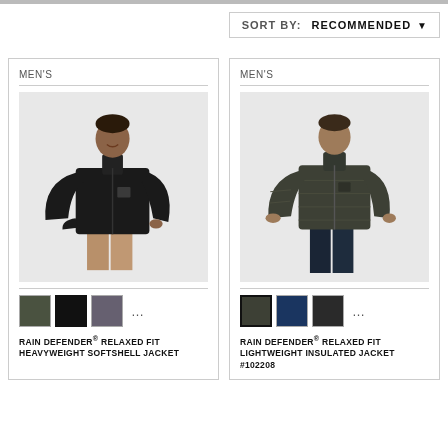SORT BY: RECOMMENDED
[Figure (screenshot): Product card for Rain Defender Relaxed Fit Heavyweight Softshell Jacket - man in black jacket]
MEN'S
RAIN DEFENDER® RELAXED FIT HEAVYWEIGHT SOFTSHELL JACKET
[Figure (screenshot): Product card for Rain Defender Relaxed Fit Lightweight Insulated Jacket #102208 - man in olive/dark green quilted jacket]
MEN'S
RAIN DEFENDER® RELAXED FIT LIGHTWEIGHT INSULATED JACKET #102208